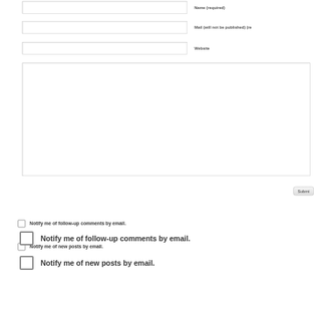[Figure (screenshot): Web comment form with fields for Name (required), Mail (will not be published) (required), Website, a large text area, a Submit button, and two checkboxes for email notification options.]
Notify me of follow-up comments by email.
Notify me of new posts by email.